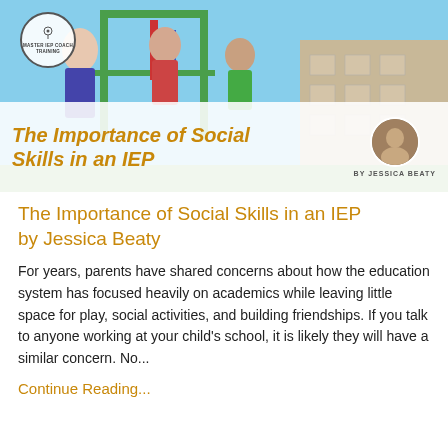[Figure (photo): Hero image showing children playing on playground equipment with a semi-transparent white overlay banner containing the article title 'The Importance of Social Skills in an IEP' in gold italic text, author photo circle, and 'BY JESSICA BEATY' text. Master IEP Coach logo circle in top-left corner.]
The Importance of Social Skills in an IEP by Jessica Beaty
For years, parents have shared concerns about how the education system has focused heavily on academics while leaving little space for play, social activities, and building friendships. If you talk to anyone working at your child's school, it is likely they will have a similar concern. No...
Continue Reading...